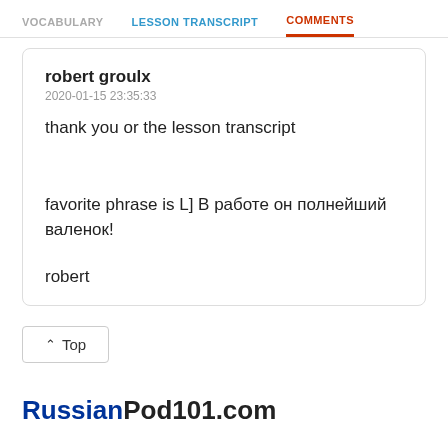VOCABULARY   LESSON TRANSCRIPT   COMMENTS
robert groulx
2020-01-15 23:35:33

thank you or the lesson transcript


favorite phrase is L] В работе он полнейший валенок!


robert
Top
RussianPod101.com